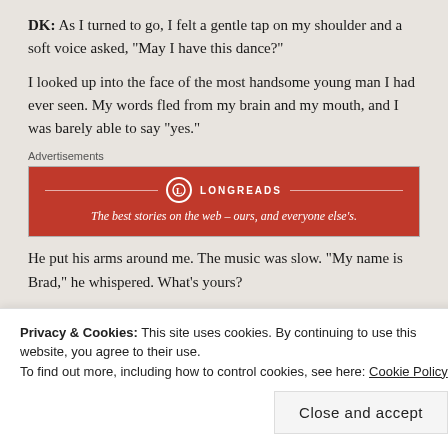DK: As I turned to go, I felt a gentle tap on my shoulder and a soft voice asked, "May I have this dance?"
I looked up into the face of the most handsome young man I had ever seen. My words fled from my brain and my mouth, and I was barely able to say "yes."
[Figure (other): Longreads advertisement banner: red background with Longreads logo circle and tagline 'The best stories on the web – ours, and everyone else's.']
He put his arms around me. The music was slow. "My name is Brad," he whispered. What's yours?
Privacy & Cookies: This site uses cookies. By continuing to use this website, you agree to their use.
To find out more, including how to control cookies, see here: Cookie Policy
[Close and accept]